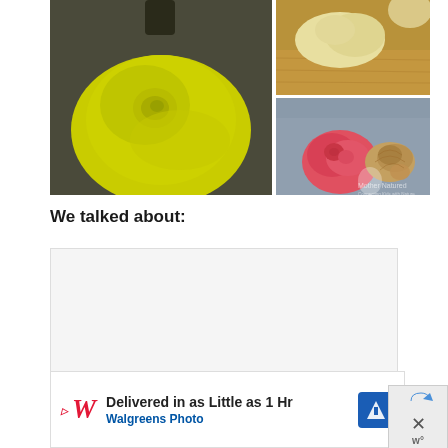[Figure (photo): A collage of four photos showing clay/playdough sculptures and a shell. Left large photo: yellow playdough shaped like a rose or flower on a dark surface. Top right photo: a cream/tan colored playdough shape on a wooden surface. Bottom right photo: pink playdough rose sculpture next to a decorative shell, with a 'Mother Natured' watermark logo in lower right.]
We talked about:
[Figure (other): Empty writing/response box with light gray background — a lined or blank space for student responses.]
[Figure (other): Advertisement banner: Walgreens Photo ad reading 'Delivered in as Little as 1 Hr' with Walgreens cursive logo in red, a blue navigation/directions icon, and a close/dismiss button on the right side showing an X and 'W' symbol.]